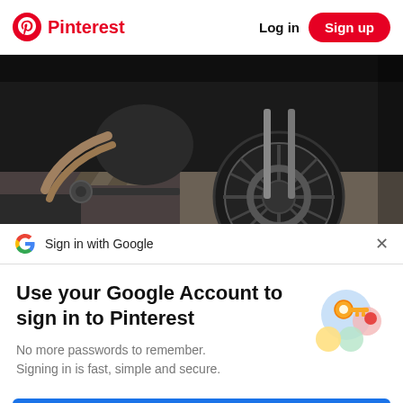Pinterest  Log in  Sign up
[Figure (photo): Close-up photo of a motorcycle's rear wheel, chain, exhaust pipe, and concrete ground]
Sign in with Google
Use your Google Account to sign in to Pinterest
No more passwords to remember. Signing in is fast, simple and secure.
[Figure (illustration): Google sign-in illustration showing a golden key with colorful circular icons]
Continue